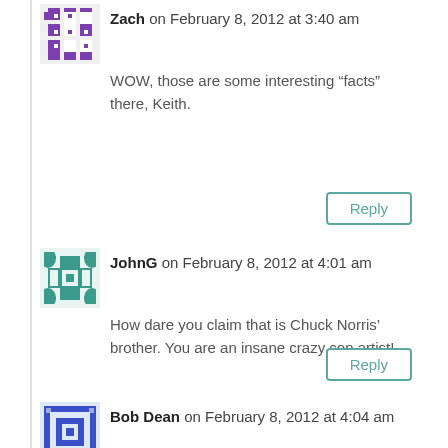Zach on February 8, 2012 at 3:40 am
WOW, those are some interesting “facts” there, Keith.
Reply
JohnG on February 8, 2012 at 4:01 am
How dare you claim that is Chuck Norris’ brother. You are an insane crazy con artist!
Reply
Bob Dean on February 8, 2012 at 4:04 am
Wonderful post, your thense geeked me out. I should be sleeping, again, but I keep readin your damn stuff. I bought a refractometer! I didn’t know I could get them cheap before.